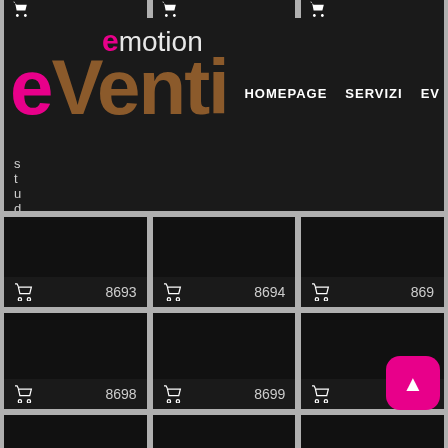[Figure (screenshot): Website screenshot of 'eVenti emotion studio fotografico' - an Italian photography studio website showing a dark-themed image gallery grid with numbered photo thumbnails (8693-8705+) and a navigation header with HOMEPAGE, SERVIZI, EV links]
eVenti emotion studio fotografico | HOMEPAGE  SERVIZI  EV
8693
8694
869
8698
8699
870
8703
8704
870